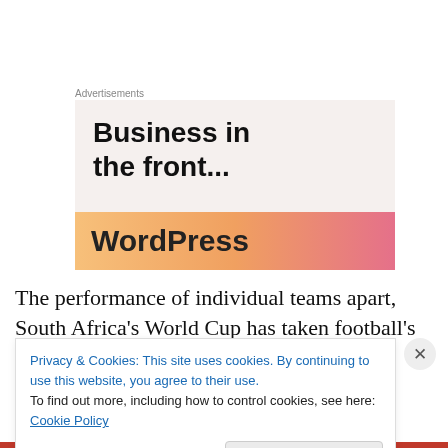Advertisements
[Figure (illustration): WordPress advertisement banner showing 'Business in the front...' text above an orange-pink gradient bar with 'WordPress' text]
The performance of individual teams apart, South Africa's World Cup has taken football's significance to another
Privacy & Cookies: This site uses cookies. By continuing to use this website, you agree to their use.
To find out more, including how to control cookies, see here: Cookie Policy
Close and accept